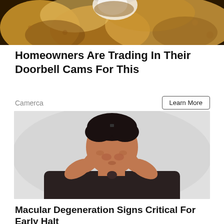[Figure (photo): Close-up photo of bread or baked goods on a dark background, top portion of an advertisement]
Homeowners Are Trading In Their Doorbell Cams For This
Camerca
Learn More
[Figure (photo): Man wearing glasses on his head, rubbing his eyes with both fists, wearing a dark shirt, against a light grey background]
Macular Degeneration Signs Critical For Early Halt